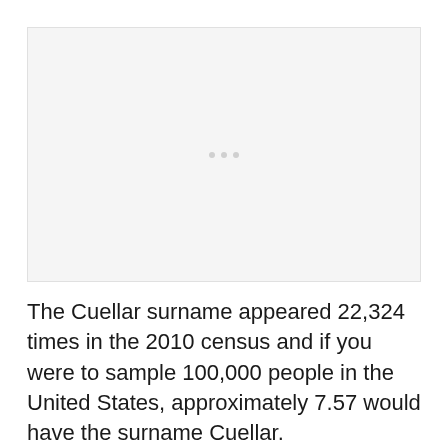[Figure (other): Placeholder image area with light gray background and three small gray dots centered, indicating an image or chart that did not load.]
The Cuellar surname appeared 22,324 times in the 2010 census and if you were to sample 100,000 people in the United States, approximately 7.57 would have the surname Cuellar.